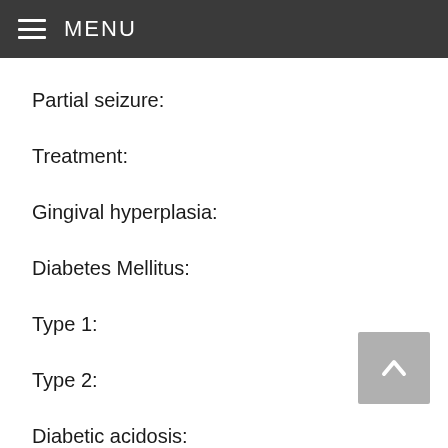MENU
Partial seizure:
Treatment:
Gingival hyperplasia:
Diabetes Mellitus:
Type 1:
Type 2:
Diabetic acidosis:
Hypoglycemia: